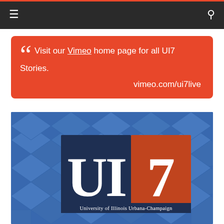Navigation bar with hamburger menu and search icon
Visit our Vimeo home page for all UI7 Stories. vimeo.com/ui7live
[Figure (logo): UI7 logo on blue 3D cube background. Shows 'UI7' text with 'University of Illinois Urbana-Champaign' subtitle. Left half dark navy background with white 'UI', right half orange background with white '7'.]